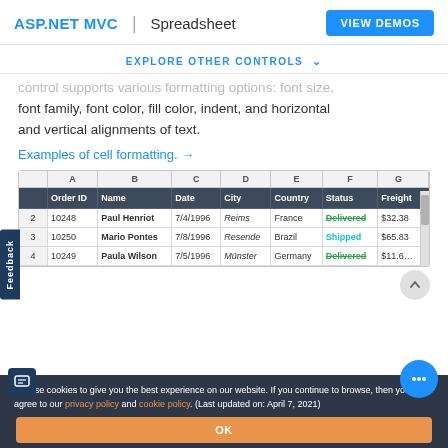ASP.NET MVC | Spreadsheet  VIEW DEMOS
EXPLORE OTHER CONTROLS
control supports various formatting options: font size, font family, font color, fill color, indent, and horizontal and vertical alignments of text.
Examples of cell formatting. →
|  | A | B | C | D | E | F | G |
| --- | --- | --- | --- | --- | --- | --- | --- |
| 1 | Order ID | Name | Date | City | Country | Status | Freight |
| 2 | 10248 | Paul Henriot | 7/4/1996 | Reims | France | Delivered | $32.38 |
| 3 | 10250 | Mario Pontes | 7/8/1996 | Resende | Brazil | Shipped | $65.83 |
| 4 | 10249 | Paula Wilson | 7/5/1996 | Münster | Germany | Delivered | $11.6... |
We use cookies to give you the best experience on our website. If you continue to browse, then you agree to our privacy policy and cookie policy. (Last updated on: April 7, 2021)
OK